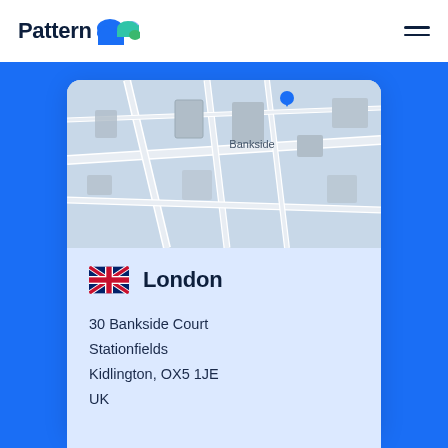[Figure (logo): Pattern company logo with teal/blue wave icon]
[Figure (map): Google Maps style street map showing Bankside area]
London
30 Bankside Court
Stationfields
Kidlington, OX5 1JE
UK